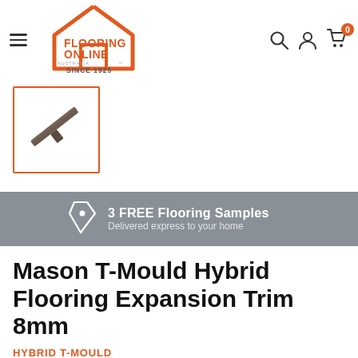[Figure (logo): Flooring Online Australia logo with orange house outline and text 'FLOORING ONLINE AUSTRALIA SINCE 1925']
[Figure (photo): Thumbnail photo of a dark brown T-mould flooring trim piece at an angle, shown in an orange-bordered box]
3 FREE Flooring Samples
Delivered express to your home
Mason T-Mould Hybrid Flooring Expansion Trim 8mm
HYBRID T-MOULD